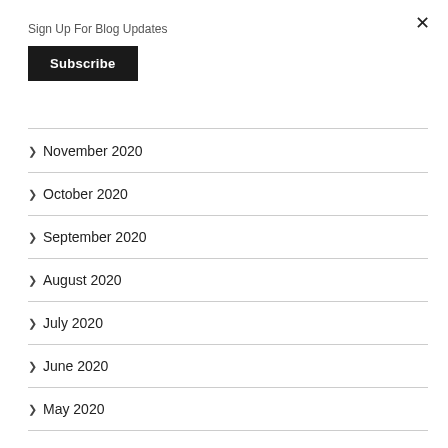×
Sign Up For Blog Updates
Subscribe
> November 2020
> October 2020
> September 2020
> August 2020
> July 2020
> June 2020
> May 2020